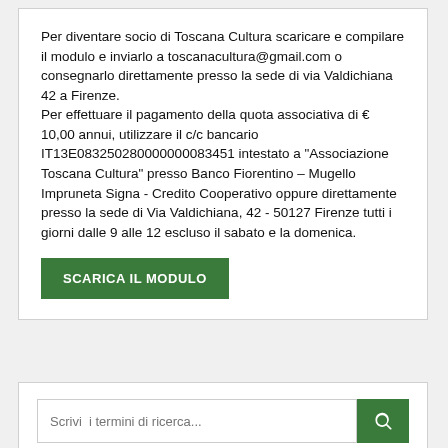Per diventare socio di Toscana Cultura scaricare e compilare il modulo e inviarlo a toscanacultura@gmail.com o consegnarlo direttamente presso la sede di via Valdichiana 42 a Firenze.
Per effettuare il pagamento della quota associativa di € 10,00 annui, utilizzare il c/c bancario IT13E083250280000000083451 intestato a "Associazione Toscana Cultura" presso Banco Fiorentino – Mugello Impruneta Signa - Credito Cooperativo oppure direttamente presso la sede di Via Valdichiana, 42 - 50127 Firenze tutti i giorni dalle 9 alle 12 escluso il sabato e la domenica.
SCARICA IL MODULO
Scrivi  i termini di ricerca...